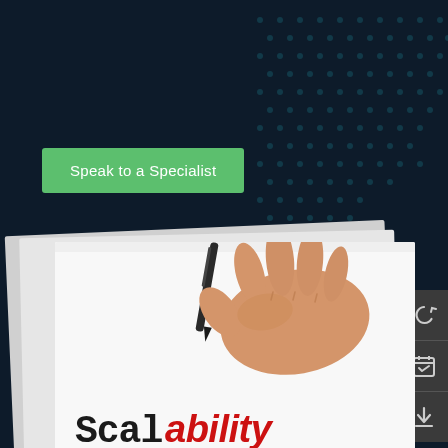[Figure (screenshot): Dark navy/teal hexagonal circuit pattern background forming the upper portion of the page]
Speak to a Specialist
[Figure (photo): A hand holding a dark marker pen, writing on white paper. The word 'Scalability' is written with 'Scal' in black handwritten font and 'ability' in red italic font. Multiple white paper layers are visible beneath the main photo.]
[Figure (infographic): Right sidebar with three dark grey icon buttons: a circular arrow/reload icon, a calendar/checkbox icon, and a download icon.]